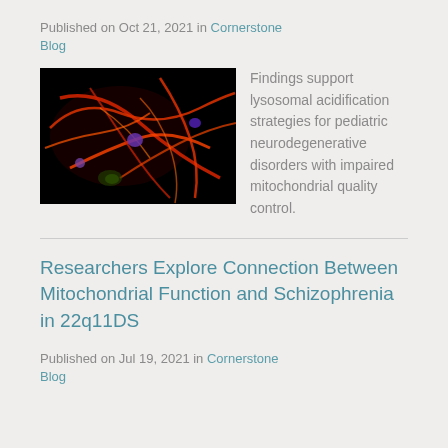Published on Oct 21, 2021 in Cornerstone Blog
[Figure (photo): Fluorescence microscopy image of cells showing red and orange filamentous structures against a black background, with small purple/blue dots visible — likely mitochondria or cytoskeletal elements stained with fluorescent dyes.]
Findings support lysosomal acidification strategies for pediatric neurodegenerative disorders with impaired mitochondrial quality control.
Researchers Explore Connection Between Mitochondrial Function and Schizophrenia in 22q11DS
Published on Jul 19, 2021 in Cornerstone Blog